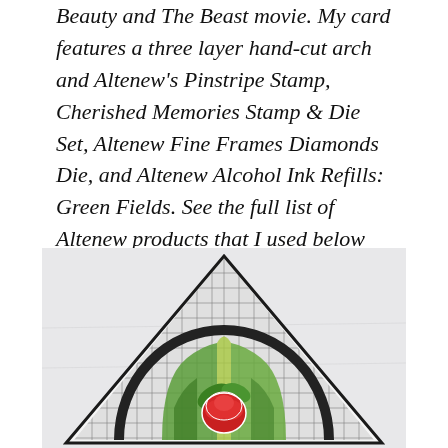Beauty and The Beast movie. My card features a three layer hand-cut arch and Altenew's Pinstripe Stamp, Cherished Memories Stamp & Die Set, Altenew Fine Frames Diamonds Die, and Altenew Alcohol Ink Refills: Green Fields. See the full list of Altenew products that I used below the second photo.
[Figure (photo): A handmade card featuring a stained-glass style arched design with a rose and green leaves, using a grid/diamond pattern background, viewed from above on a light surface.]